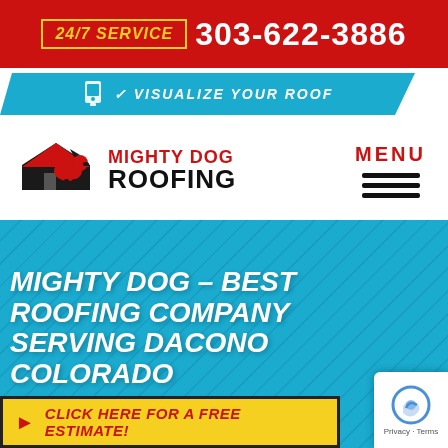24/7 SERVICE  303-622-3886
[Figure (screenshot): Blue bar with phone icon and text VISUALIZE YOUR ROOF]
[Figure (logo): Mighty Dog Roofing logo with dog silhouette and company name]
MENU
MIGHTY DOG – BEST ROOFING COMPANY SERVING DACONO COLORADO
[Figure (infographic): Yellow CTA button: CLICK HERE FOR A FREE ESTIMATE!]